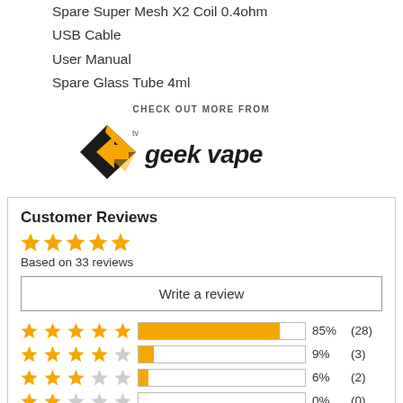Spare Super Mesh X2 Coil 0.4ohm
USB Cable
User Manual
Spare Glass Tube 4ml
[Figure (logo): Geek Vape logo with 'CHECK OUT MORE FROM' text above it]
Customer Reviews
Based on 33 reviews
Write a review
[Figure (bar-chart): Customer rating distribution]